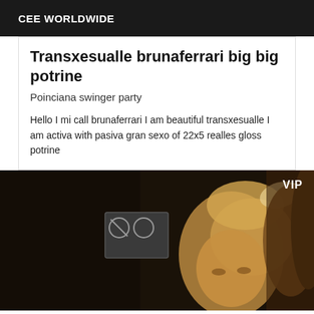CEE WORLDWIDE
Transxesualle brunaferrari big big potrine
Poinciana swinger party
Hello I mi call brunaferrari I am beautiful transxesualle I am activa with pasiva gran sexo of 22x5 realles gloss potrine
[Figure (photo): Dark photo of a blonde woman in a nightclub/event setting, with a VIP badge overlay in the top right corner]